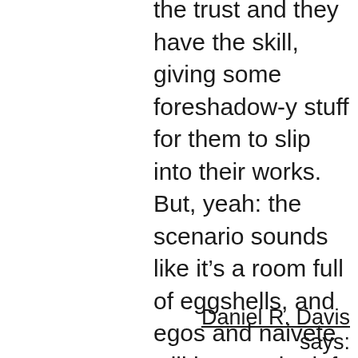the trust and they have the skill, giving some foreshadow-y stuff for them to slip into their works. But, yeah: the scenario sounds like it's a room full of eggshells, and egos and naivete will have to be left at the door if the endeavor will be anywhere close to “successful”.
Reply
Daniel R. Davis says: